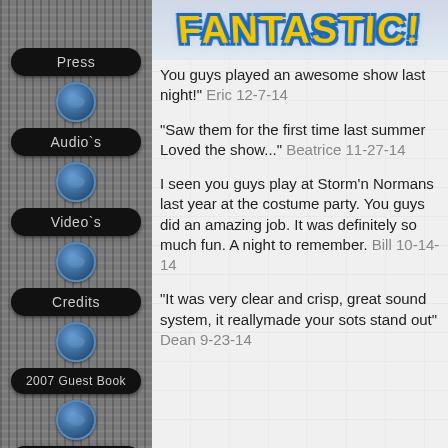Press
Audio's
Video's
Credits
2007 Guest Book
2008 Guest Book
2009 Guest Book
FANTASTIC!
You guys played an awesome show last night! Eric 12-7-14
"Saw them for the first time last summer Loved the show..." Beatrice 11-27-14
I seen you guys play at Storm'n Normans last year at the costume party. You guys did an amazing job. It was definitely so much fun. A night to remember. Bill 10-14-14
"It was very clear and crisp, great sound system, it reallymade your sots stand out" Dean 9-23-14